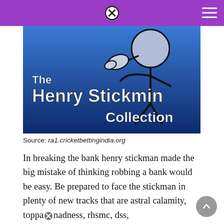[Figure (illustration): The Henry Stickmin Collection promotional image. Blue background showing a stick figure with a round head holding its chin thoughtfully. Bold white text reads 'The Henry Stickmin Collection'.]
Source: ra1.cricketbettingindia.org
In breaking the bank henry stickman made the big mistake of thinking robbing a bank would be easy. Be prepared to face the stickman in plenty of new tracks that are astral calamity, toppa madness, rhsmc, dss,